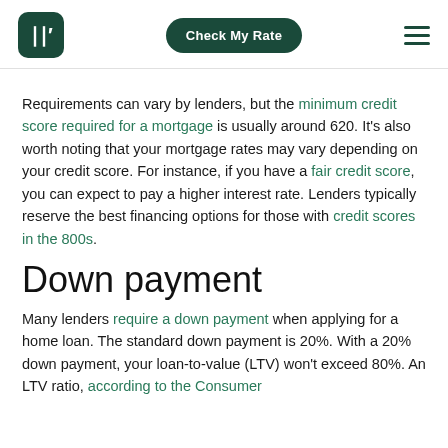Check My Rate
Requirements can vary by lenders, but the minimum credit score required for a mortgage is usually around 620. It’s also worth noting that your mortgage rates may vary depending on your credit score. For instance, if you have a fair credit score, you can expect to pay a higher interest rate. Lenders typically reserve the best financing options for those with credit scores in the 800s.
Down payment
Many lenders require a down payment when applying for a home loan. The standard down payment is 20%. With a 20% down payment, your loan-to-value (LTV) won’t exceed 80%. An LTV ratio, according to the Consumer